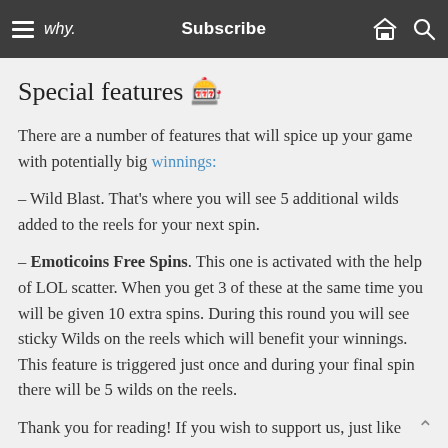why. Subscribe
Special features 🎰
There are a number of features that will spice up your game with potentially big winnings:
– Wild Blast. That's where you will see 5 additional wilds added to the reels for your next spin.
– Emoticoins Free Spins. This one is activated with the help of LOL scatter. When you get 3 of these at the same time you will be given 10 extra spins. During this round you will see sticky Wilds on the reels which will benefit your winnings. This feature is triggered just once and during your final spin there will be 5 wilds on the reels.
Thank you for reading! If you wish to support us, just like